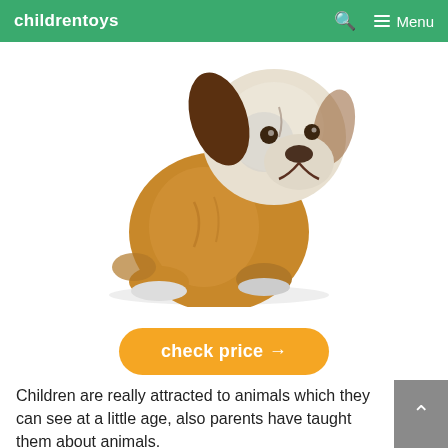childrentoys   🔍   ≡ Menu
[Figure (photo): A stuffed plush dog toy sitting upright. The toy has a beige/tan body, white and brown face with floppy brown ears, and white paw pads. It appears to be a cute, soft children's stuffed animal.]
check price →
Children are really attracted to animals which they can see at a little age, also parents have taught them about animals.